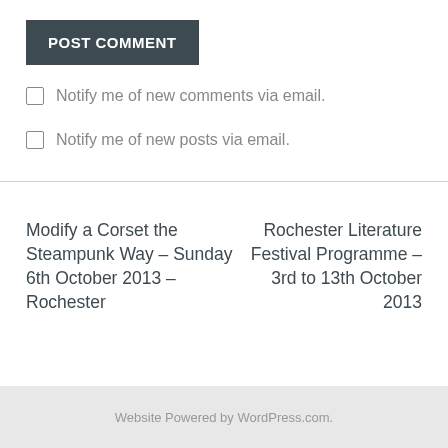POST COMMENT
Notify me of new comments via email.
Notify me of new posts via email.
Modify a Corset the Steampunk Way – Sunday 6th October 2013 – Rochester
Rochester Literature Festival Programme – 3rd to 13th October 2013
Website Powered by WordPress.com.